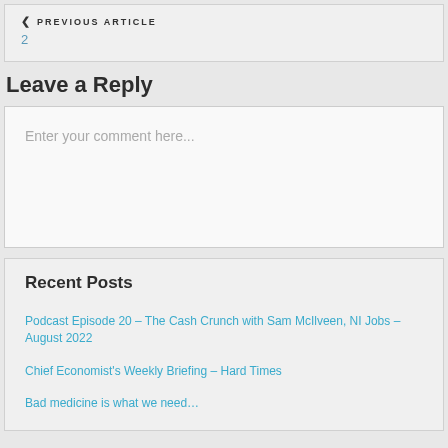❮ PREVIOUS ARTICLE
2
Leave a Reply
Enter your comment here...
Recent Posts
Podcast Episode 20 – The Cash Crunch with Sam McIlveen, NI Jobs – August 2022
Chief Economist's Weekly Briefing – Hard Times
Bad medicine is what we need…